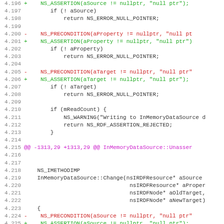[Figure (screenshot): Code diff showing C++ source file changes, with line numbers 4.196-4.228, additions in green, deletions in red, context lines in black, and diff hunk headers in magenta. The code relates to InMemoryDataSource with NS_PRECONDITION replaced by NS_ASSERTION calls.]